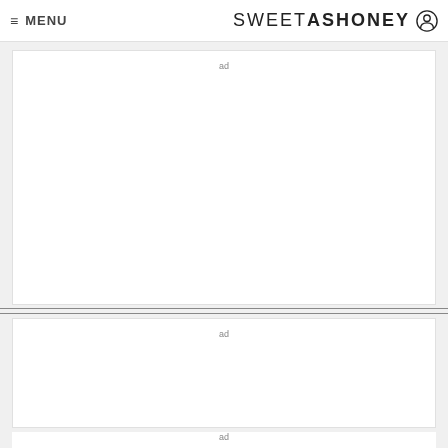≡ MENU  SWEETASHONEY
[Figure (other): Advertisement placeholder box 1 with label 'ad']
[Figure (other): Advertisement placeholder box 2 with label 'ad']
[Figure (other): Advertisement placeholder box 3 with partial label 'ad']